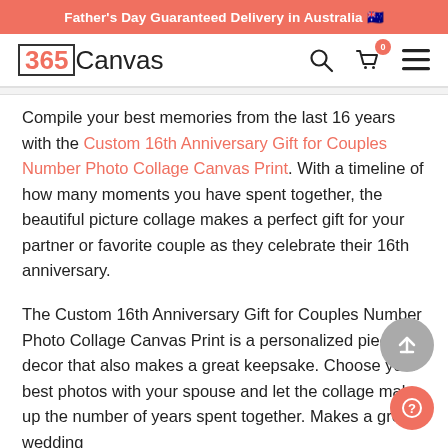Father's Day Guaranteed Delivery in Australia 🇦🇺
[Figure (logo): 365Canvas logo with orange 365 in a border box and black Canvas text, search icon, cart icon with badge 0, and hamburger menu icon]
Compile your best memories from the last 16 years with the Custom 16th Anniversary Gift for Couples Number Photo Collage Canvas Print. With a timeline of how many moments you have spent together, the beautiful picture collage makes a perfect gift for your partner or favorite couple as they celebrate their 16th anniversary.

The Custom 16th Anniversary Gift for Couples Number Photo Collage Canvas Print is a personalized piece of decor that also makes a great keepsake. Choose your best photos with your spouse and let the collage make up the number of years spent together. Makes a great wedding